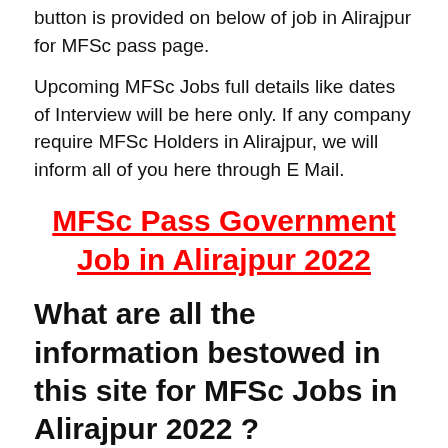button is provided on below of job in Alirajpur for MFSc pass page.
Upcoming MFSc Jobs full details like dates of Interview will be here only. If any company require MFSc Holders in Alirajpur, we will inform all of you here through E Mail.
MFSc Pass Government Job in Alirajpur 2022
What are all the information bestowed in this site for MFSc Jobs in Alirajpur 2022 ?
Well huge variety of information can be found from Naukri Day regarding MFSc Jobs in Alirajpur